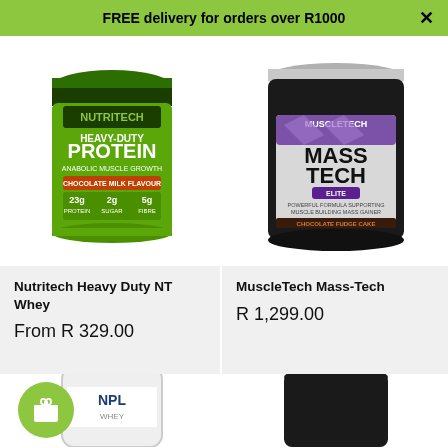FREE delivery for orders over R1000
[Figure (photo): Nutritech Heavy Duty NT Whey protein supplement tub – green container with 'HEAVY-DUTY PROTEIN' label, Chocolate Milk Flavour]
[Figure (photo): MuscleTech Mass-Tech Elite mass gainer supplement tub – large dark container with purple/silver label]
Nutritech Heavy Duty NT Whey
From R 329.00
MuscleTech Mass-Tech
R 1,299.00
[Figure (photo): NPL supplement tub partially visible at bottom left]
[Figure (photo): Dark supplement tub partially visible at bottom right]